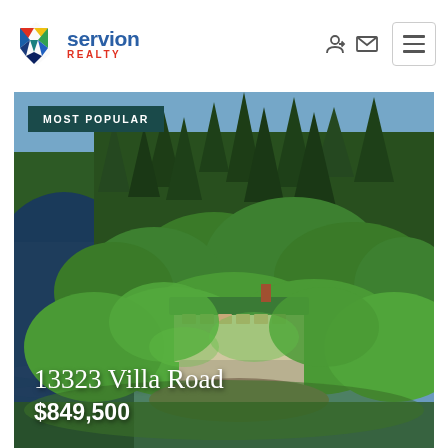[Figure (logo): Servion Realty logo with geometric diamond/shield icon in red, blue, green, yellow colors, and text 'servion' in blue with 'REALTY' in red below]
[Figure (photo): Aerial drone photo of a lakeside property at 13323 Villa Road — a building with a green metal roof surrounded by dense pine and deciduous trees, situated on a rocky shoreline with a dark lake visible on the left side. Badge reads MOST POPULAR.]
13323 Villa Road
$849,500